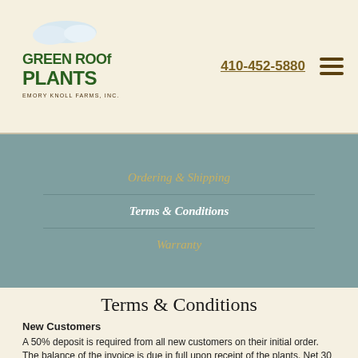[Figure (logo): Green Roof Plants - Emory Knoll Farms, Inc. logo with green text and clouds]
410-452-5880
Ordering & Shipping
Terms & Conditions
Warranty
Terms & Conditions
New Customers
A 50% deposit is required from all new customers on their initial order. The balance of the invoice is due in full upon receipt of the plants. Net 30 Terms are available to all customers on all subsequent orders, upon the completion of a credit application